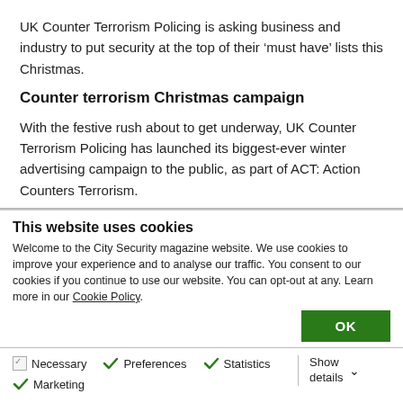UK Counter Terrorism Policing is asking business and industry to put security at the top of their ‘must have’ lists this Christmas.
Counter terrorism Christmas campaign
With the festive rush about to get underway, UK Counter Terrorism Policing has launched its biggest-ever winter advertising campaign to the public, as part of ACT: Action Counters Terrorism.
This website uses cookies
Welcome to the City Security magazine website. We use cookies to improve your experience and to analyse our traffic. You consent to our cookies if you continue to use our website. You can opt-out at any. Learn more in our Cookie Policy.
OK
Necessary   Preferences   Statistics   Marketing   Show details